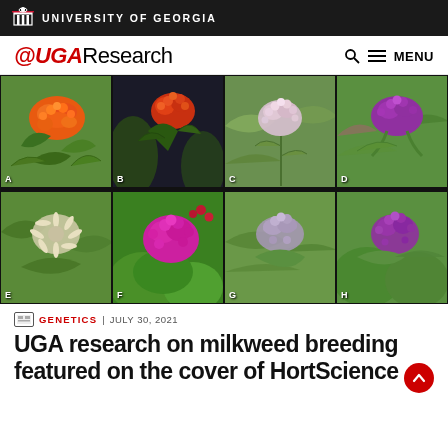UNIVERSITY OF GEORGIA
@UGA Research
[Figure (photo): Grid of 8 milkweed flower photographs labeled A through H, showing various species with colors including orange, red/orange, pink/white, purple, cream/white, bright pink/purple, lavender/gray, and purple/pink blooms with green foliage.]
GENETICS | JULY 30, 2021
UGA research on milkweed breeding featured on the cover of HortScience